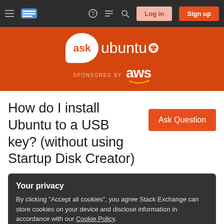Ask Ubuntu – Navigation bar with Log in and Sign up buttons
[Figure (logo): Ask Ubuntu logo with speech bubble containing 'ask' and 'ubuntu' text with Ubuntu circle logo, on orange background. Sponsored by AWS logo below.]
[Figure (other): Ask Question button (orange)]
How do I install Ubuntu to a USB key? (without using Startup Disk Creator)
Your privacy
By clicking "Accept all cookies", you agree Stack Exchange can store cookies on your device and disclose information in accordance with our Cookie Policy.
Accept all cookies    Customize settings